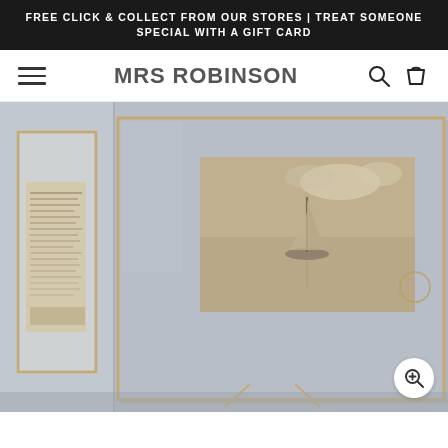FREE CLICK & COLLECT FROM OUR STORES | TREAT SOMEONE SPECIAL WITH A GIFT CARD
MRS ROBINSON
[Figure (photo): Product photo showing two brass/gold thin metal photo frames with glass fronts and wire easel backs, displayed on a surface. The larger frame holds a sepia-toned photograph of a sailboat on water, while a smaller frame beside it contains a vintage handwritten document. Background is light grey/blue toned.]